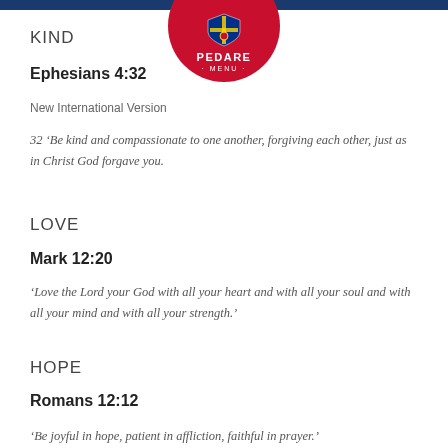[Figure (logo): Pedare school logo: red circle with shield crest, text PEDARE and MENU below on white background, blue bar at top]
KIND
Ephesians 4:32
New International Version
32 ‘Be kind and compassionate to one another, forgiving each other, just as in Christ God forgave you.
LOVE
Mark 12:20
‘Love the Lord your God with all your heart and with all your soul and with all your mind and with all your strength.’
HOPE
Romans 12:12
‘Be joyful in hope, patient in affliction, faithful in prayer.’